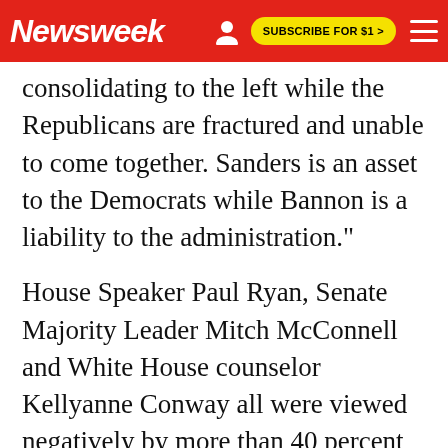Newsweek | SUBSCRIBE FOR $1 >
consolidating to the left while the Republicans are fractured and unable to come together. Sanders is an asset to the Democrats while Bannon is a liability to the administration."
House Speaker Paul Ryan, Senate Majority Leader Mitch McConnell and White House counselor Kellyanne Conway all were viewed negatively by more than 40 percent of the respondents. McConnell was viewed positively by just 23 percent. Better news for Trump came from his newly confirmed Supreme Court